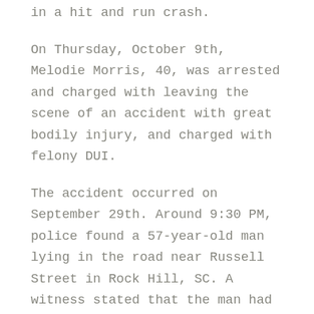in a hit and run crash.
On Thursday, October 9th, Melodie Morris, 40, was arrested and charged with leaving the scene of an accident with great bodily injury, and charged with felony DUI.
The accident occurred on September 29th. Around 9:30 PM, police found a 57-year-old man lying in the road near Russell Street in Rock Hill, SC. A witness stated that the man had been walking in the road, staggering back and forth. The witness, who was standing in front of her house, asked the man if he was drunk, and he replied that he was